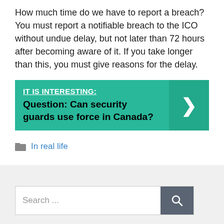How much time do we have to report a breach? You must report a notifiable breach to the ICO without undue delay, but not later than 72 hours after becoming aware of it. If you take longer than this, you must give reasons for the delay.
[Figure (infographic): Teal banner with label 'IT IS INTERESTING:' and text 'Question: Can security guards use force in Canada?' with a right-arrow chevron on the right side.]
In real life
Search ...